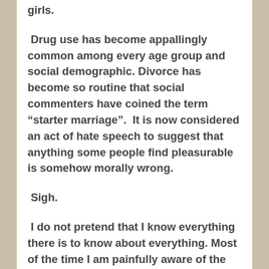girls.
Drug use has become appallingly common among every age group and social demographic. Divorce has become so routine that social commenters have coined the term “starter marriage”.  It is now considered an act of hate speech to suggest that anything some people find pleasurable is somehow morally wrong.
Sigh.
I do not pretend that I know everything there is to know about everything. Most of the time I am painfully aware of the fact that I really don’t know what I don’t know about most stuff. However, there is one thing I do know for absolute certain. There is simply no way we will get out of the mess we’re in